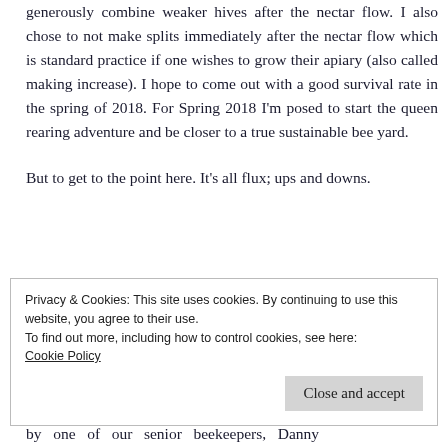generously combine weaker hives after the nectar flow. I also chose to not make splits immediately after the nectar flow which is standard practice if one wishes to grow their apiary (also called making increase). I hope to come out with a good survival rate in the spring of 2018. For Spring 2018 I'm posed to start the queen rearing adventure and be closer to a true sustainable bee yard.
But to get to the point here. It's all flux; ups and downs.
Privacy & Cookies: This site uses cookies. By continuing to use this website, you agree to their use.
To find out more, including how to control cookies, see here:
Cookie Policy
Close and accept
by one of our senior beekeepers, Danny